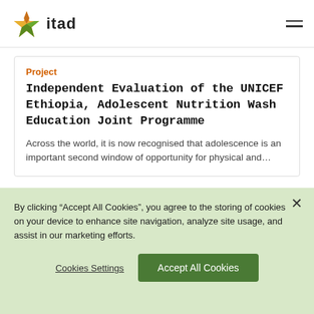itad
Project
Independent Evaluation of the UNICEF Ethiopia, Adolescent Nutrition Wash Education Joint Programme
Across the world, it is now recognised that adolescence is an important second window of opportunity for physical and...
[Figure (photo): Crowd of people photographed from above, showing tops of heads with some wearing red garments]
By clicking “Accept All Cookies”, you agree to the storing of cookies on your device to enhance site navigation, analyze site usage, and assist in our marketing efforts.
Cookies Settings
Accept All Cookies